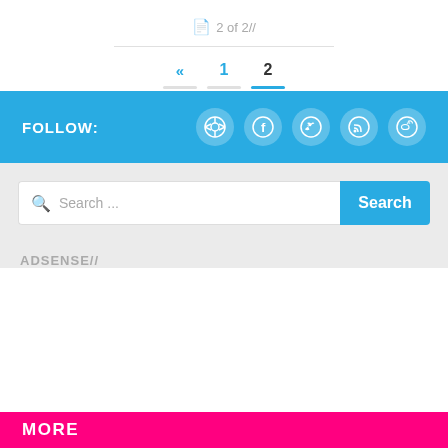2 of 2//
« 1 2
FOLLOW:
[Figure (other): Social media icons: Chrome, Facebook, Twitter, RSS, Weibo in circular white-on-blue buttons]
Search ...
ADSENSE//
MORE